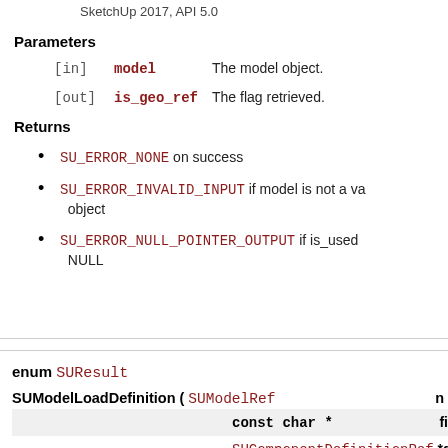SketchUp 2017, API 5.0
Parameters
[in]  model  The model object.
[out] is_geo_ref  The flag retrieved.
Returns
SU_ERROR_NONE on success
SU_ERROR_INVALID_INPUT if model is not a valid object
SU_ERROR_NULL_POINTER_OUTPUT if is_used is NULL
enum SUResult SUModelLoadDefinition ( SUModelRef  n... const char *  fi... SUComponentDefinitionRef * d...
enum SUResult
SUModelLoadDefinition ( SUModelRef  n...
const char *  fi...
SUComponentDefinitionRef * d...